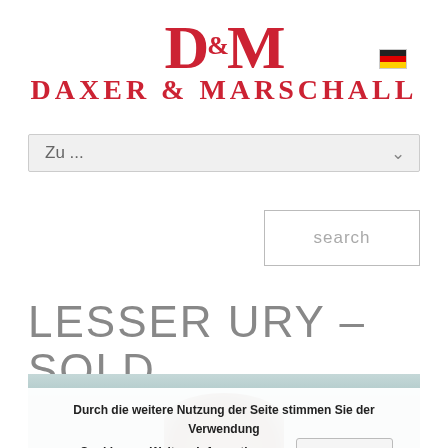[Figure (logo): Daxer & Marschall logo in red serif font with D&M monogram and German flag icon]
Zu ...
search
LESSER URY – SOLD
[Figure (photo): Partial view of a painting showing a figure with brown hair against a blue-grey background]
Durch die weitere Nutzung der Seite stimmen Sie der Verwendung von Cookies zu. Weitere Informationen   Akzeptieren